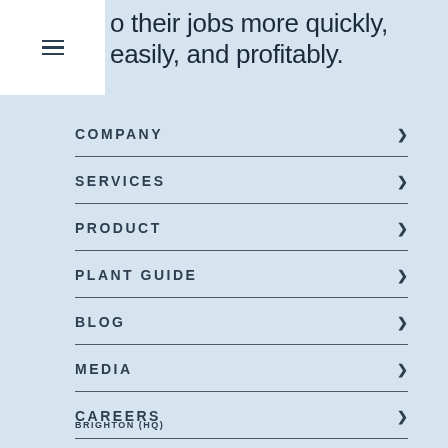o their jobs more quickly, easily, and profitably.
COMPANY
SERVICES
PRODUCT
PLANT GUIDE
BLOG
MEDIA
CAREERS
CONTACT
BRIGHTON (HQ)